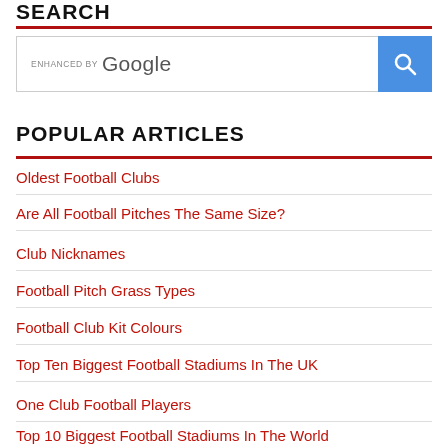SEARCH
[Figure (screenshot): Google search box with 'ENHANCED BY Google' label and blue search button with magnifying glass icon]
POPULAR ARTICLES
Oldest Football Clubs
Are All Football Pitches The Same Size?
Club Nicknames
Football Pitch Grass Types
Football Club Kit Colours
Top Ten Biggest Football Stadiums In The UK
One Club Football Players
Top 10 Biggest Football Stadiums In The World